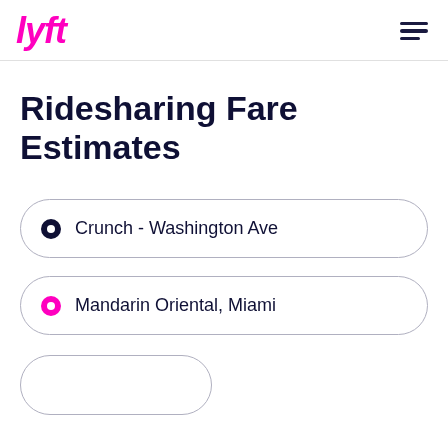lyft
Ridesharing Fare Estimates
Crunch - Washington Ave
Mandarin Oriental, Miami